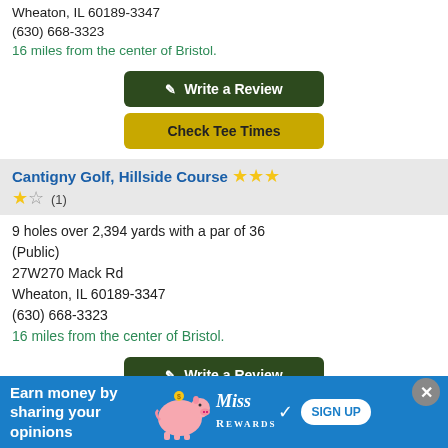Wheaton, IL 60189-3347
(630) 668-3323
16 miles from the center of Bristol.
Write a Review
Check Tee Times
Cantigny Golf, Hillside Course ★★★★☆ (1)
9 holes over 2,394 yards with a par of 36 (Public)
27W270 Mack Rd
Wheaton, IL 60189-3347
(630) 668-3323
16 miles from the center of Bristol.
Write a Review
Check Tee Times
[Figure (infographic): Advertisement banner: blue background with 'Earn money by sharing your opinions' text, MissRewards logo, piggy bank graphic, and SIGN UP button]